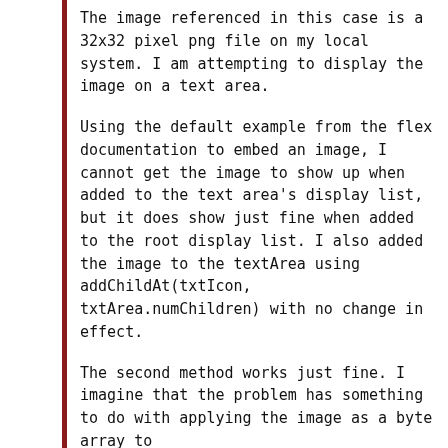The image referenced in this case is a 32x32 pixel png file on my
   local system. I am attempting to display the image on a text
area.
Using the default example from the flex documentation to embed an
   image, I cannot get the image to show up when added to the text
area's
   display list, but it does show just fine when added to the root
   display list. I also added the image to the textArea using
   addChildAt(txtIcon, txtArea.numChildren) with no change in
effect.
The second method works just fine. I imagine that the problem has
   something to do with applying the image as a byte array to